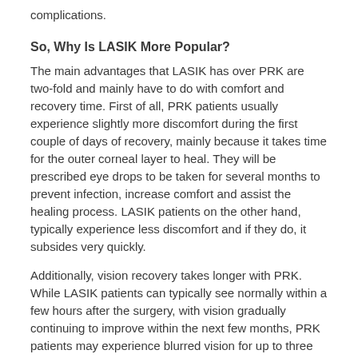complications.
So, Why Is LASIK More Popular?
The main advantages that LASIK has over PRK are two-fold and mainly have to do with comfort and recovery time. First of all, PRK patients usually experience slightly more discomfort during the first couple of days of recovery, mainly because it takes time for the outer corneal layer to heal. They will be prescribed eye drops to be taken for several months to prevent infection, increase comfort and assist the healing process. LASIK patients on the other hand, typically experience less discomfort and if they do, it subsides very quickly.
Additionally, vision recovery takes longer with PRK. While LASIK patients can typically see normally within a few hours after the surgery, with vision gradually continuing to improve within the next few months, PRK patients may experience blurred vision for up to three days and it can take up to six months until they achieve full visual clarity. While patients who undergo LASIK can usually drive and resume normal